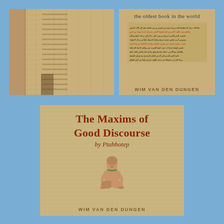[Figure (photo): Top-left book cover showing hieroglyphic text on papyrus background]
[Figure (photo): Top-right book cover with subtitle 'the oldest book in the world', hieratic script text block, and author name WIM VAN DEN DUNGEN]
[Figure (illustration): Main bottom book cover for 'The Maxims of Good Discourse by Ptahhotep' with papyrus background, seated scribe figure, and author WIM VAN DEN DUNGEN]